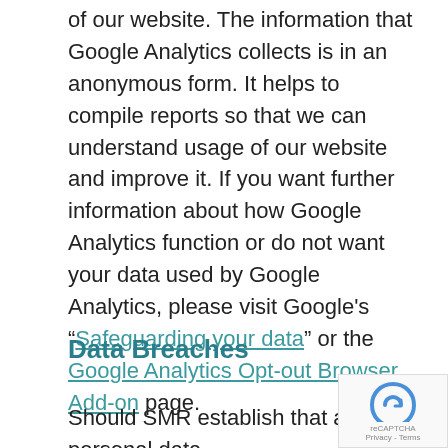of our website. The information that Google Analytics collects is in an anonymous form. It helps to compile reports so that we can understand usage of our website and improve it. If you want further information about how Google Analytics function or do not want your data used by Google Analytics, please visit Google's “Safeguarding your data” or the Google Analytics Opt-out Browser Add-on page.
Data Breaches
Should SMR establish that a personal data